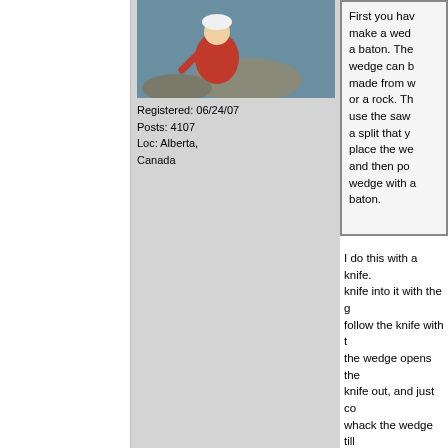[Figure (photo): Person in red jacket and white hat crouching near rocks by water outdoors]
Registered: 06/24/07
Posts: 4107
Loc: Alberta, Canada
First you have to make a wedge and a baton. The wedge can be made from wood or a rock. Then use the saw to start a split that you place the wedge in and then pound the wedge with a baton.
I do this with a knife. knife into it with the g follow the knife with t the wedge opens the knife out, and just co whack the wedge till comes apart. Can us or start with a small c up. Good way to split stuff to get at dry woo
You do need a full ha I've also seen it done who carried an old ha cleaver for this purpo